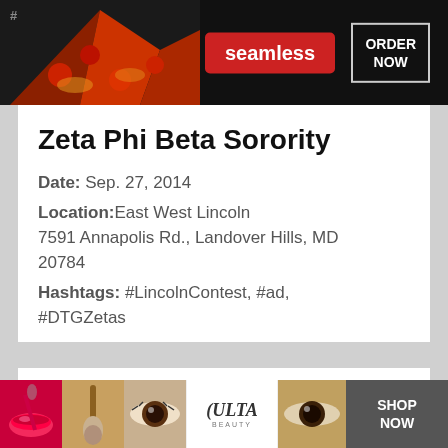[Figure (screenshot): Top advertisement banner for Seamless food ordering with pizza imagery, red Seamless button, and ORDER NOW box on dark background]
Zeta Phi Beta Sorority
Date: Sep. 27, 2014
Location: East West Lincoln 7591 Annapolis Rd., Landover Hills, MD 20784
Hashtags: #LincolnContest, #ad, #DTGZetas
Alpha Kappa Alpha Sorority
Date: Sep. 27, 2014
[Figure (screenshot): Bottom advertisement banner for ULTA beauty with makeup imagery, CLOSE button, and SHOP NOW button]